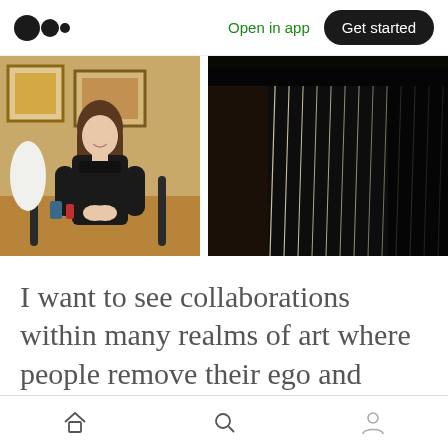Medium logo | Open in app | Get started
[Figure (photo): Young woman with long hair sitting at a table in a room with framed artwork on the walls]
[Figure (photo): Close-up dark image of what appears to be a harp or piano strings]
I want to see collaborations within many realms of art where people remove their ego and work together to
Home | Search | Profile